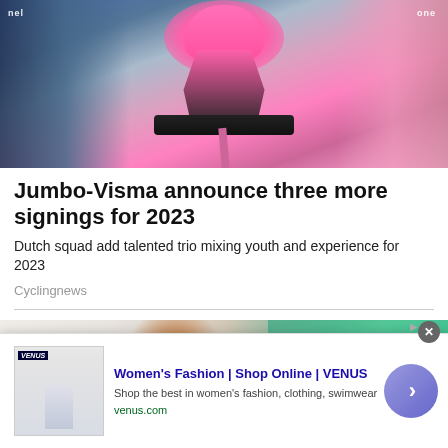[Figure (photo): Cyclist in pink jersey (maglia rosa) riding a bicycle, Giro d'Italia race, blurred crowd background with blue and pink tones]
Jumbo-Visma announce three more signings for 2023
Dutch squad add talented trio mixing youth and experience for 2023
Cyclingnews
[Figure (photo): Partial view of second article image showing a person against a teal/green background]
[Figure (other): Advertisement banner: Women's Fashion | Shop Online | VENUS. Shop the best in women's fashion, clothing, swimwear. venus.com]